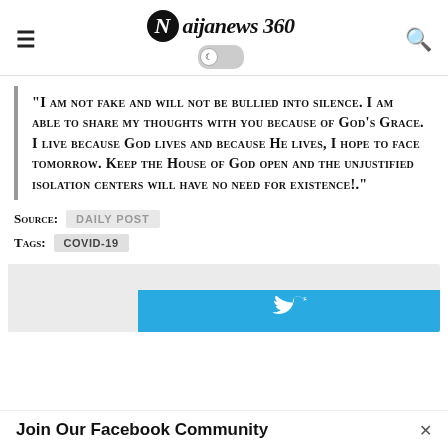Naijanews 360
"I am not fake and will not be bullied into silence. I am able to share my thoughts with you because of God's Grace. I live because God lives and because He lives, I hope to face tomorrow. Keep the House of God open and the unjustified isolation centers will have no need for existence!."
Source: DAILY POST
Tags: COVID-19
[Figure (screenshot): Advertisement banner with blue Twitter bird background]
Join Our Facebook Community